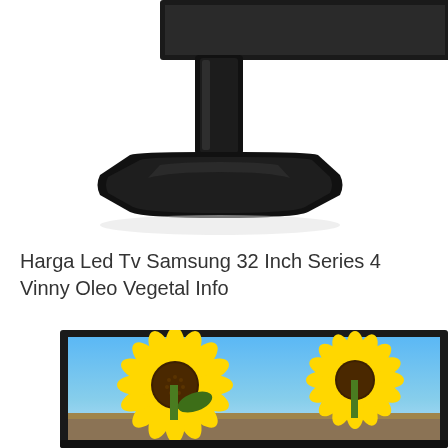[Figure (photo): Close-up photo of the base/stand of a Samsung LED TV, black plastic stand on white background, partial view of the screen edge with yellow color visible at top right]
Harga Led Tv Samsung 32 Inch Series 4 Vinny Oleo Vegetal Info
[Figure (photo): Samsung LED TV displaying sunflowers image — two large yellow sunflowers against a blue sky background, shown in a thin black-framed flat screen TV, partially cropped at bottom]